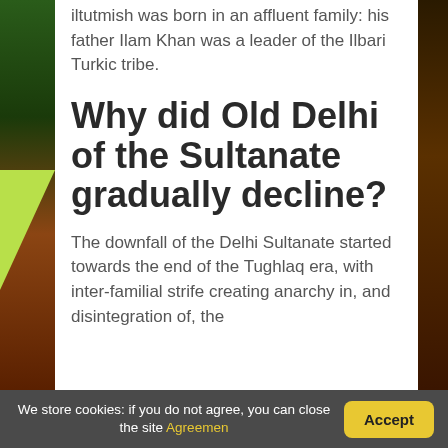Iltutmish was born in an affluent family: his father Ilam Khan was a leader of the Ilbari Turkic tribe.
Why did Old Delhi of the Sultanate gradually decline?
The downfall of the Delhi Sultanate started towards the end of the Tughlaq era, with inter-familial strife creating anarchy in, and disintegration of, the
We store cookies: if you do not agree, you can close the site Agreemen  Accept